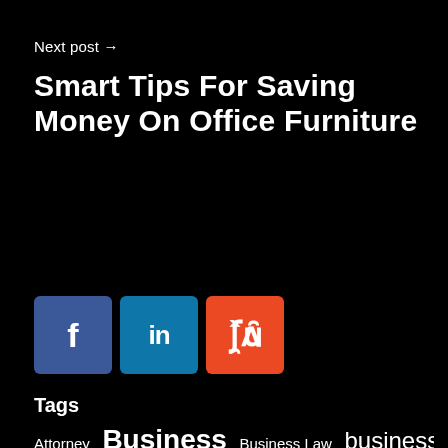Next post →
Smart Tips For Saving Money On Office Furniture
[Figure (other): Social media share icons: Facebook (blue), LinkedIn (teal), StumbleUpon (orange-red)]
Tags
Attorney  Business  Business Law  business